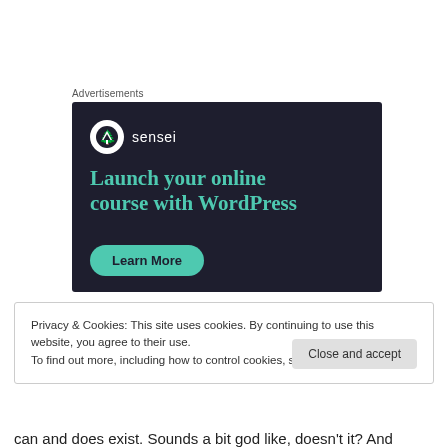Advertisements
[Figure (illustration): Sensei advertisement: dark navy background with Sensei logo (white circle with tree icon and 'sensei' text), large teal headline 'Launch your online course with WordPress', and a teal 'Learn More' button.]
Privacy & Cookies: This site uses cookies. By continuing to use this website, you agree to their use.
To find out more, including how to control cookies, see here: Cookie Policy
Close and accept
can and does exist. Sounds a bit god like, doesn't it? And